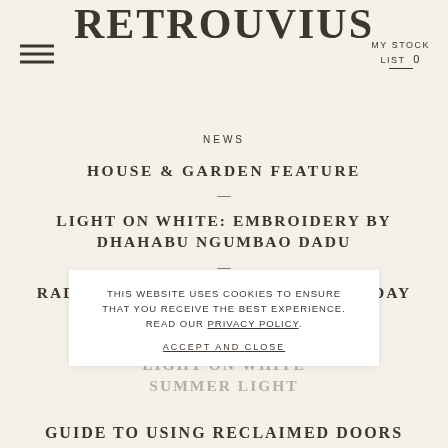RETROUVIUS | MY STOCK LIST 0
NEWS
HOUSE & GARDEN FEATURE
LIGHT ON WHITE: EMBROIDERY BY DHAHABU NGUMBAO DADU
RADICAL ACTS: SYMPOSIUM THURSDAY JUNE 30TH / FRIDAY JULY 1ST
LIGHT ON WHITE SUMMER LIGHT
THIS WEBSITE USES COOKIES TO ENSURE THAT YOU RECEIVE THE BEST EXPERIENCE. READ OUR PRIVACY POLICY.
ACCEPT AND CLOSE
GUIDE TO USING RECLAIMED DOORS